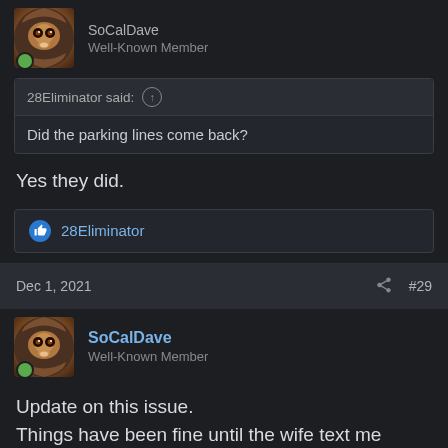Well-Known Member
28Eliminator said: ↑
Did the parking lines come back?
Yes they did.
28Eliminator
Dec 1, 2021  #29
SoCalDave
Well-Known Member
Update on this issue.
Things have been fine until the wife text me these screen shots this morning. I'm going to replace the